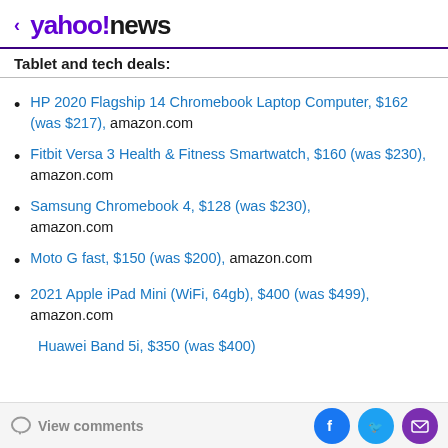< yahoo!news
Tablet and tech deals:
HP 2020 Flagship 14 Chromebook Laptop Computer, $162 (was $217), amazon.com
Fitbit Versa 3 Health & Fitness Smartwatch, $160 (was $230), amazon.com
Samsung Chromebook 4, $128 (was $230), amazon.com
Moto G fast, $150 (was $200), amazon.com
2021 Apple iPad Mini (WiFi, 64gb), $400 (was $499), amazon.com
View comments | Facebook | Twitter | Mail